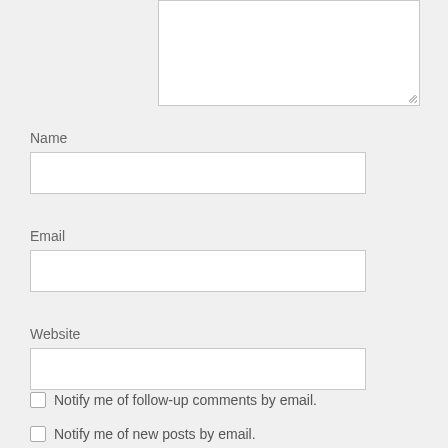[Figure (screenshot): Text area input box (comment field) partially visible at top of page, white background with border and resize handle]
Name
[Figure (screenshot): Name text input field, white rectangle with border]
Email
[Figure (screenshot): Email text input field, white rectangle with border]
Website
[Figure (screenshot): Website text input field, white rectangle with border]
Notify me of follow-up comments by email.
Notify me of new posts by email.